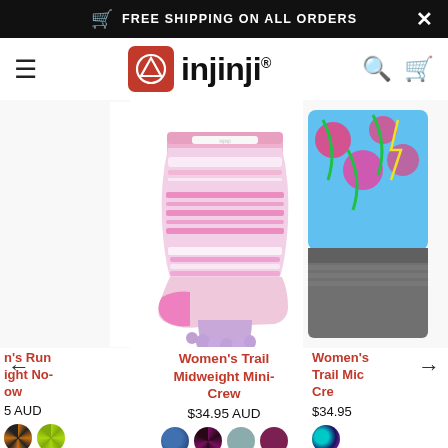FREE SHIPPING ON ALL ORDERS
[Figure (logo): Injinji brand logo with red square icon and black text]
[Figure (photo): Women's Trail Midweight Mini-Crew toe sock in pink/lavender colorway, center product]
[Figure (photo): Women's colorful patterned Trail Midweight Crew sock, partially visible on right]
Women's Trail Midweight Mini-Crew
$34.95 AUD
Women's Run Lightweight No-Show
$... AUD
Women's Trail Midweight Crew
$34.95